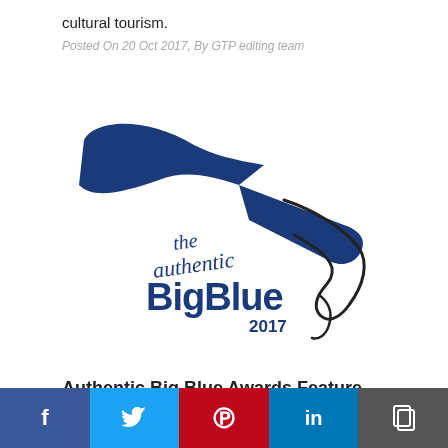cultural tourism.
Posted On 20 Oct 2017, By GTP editing team
[Figure (logo): The Authentic Big Blue 2017 logo — a stylized freediver silhouette in dark blue and black with a large blue fish/manta tail, with cursive text 'the authentic' above bold text 'BigBlue' and '2017' below.]
Authentic Big Blue Awards Feature Legendary Free Divers Mayol, Majorca
f  [twitter]  [pinterest]  in  [copy]